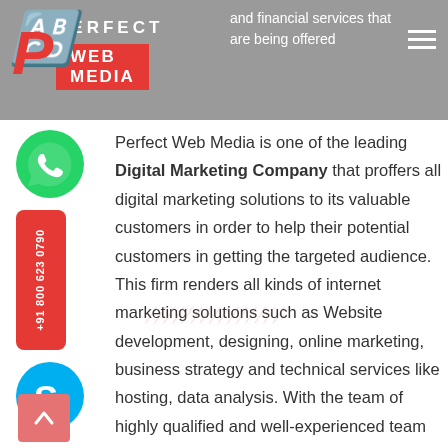and financial services that are being offered
[Figure (logo): Perfect Web Media logo — red stylized P with PERFECT text and red WEB MEDIA banner]
[Figure (illustration): WhatsApp green icon on left sidebar]
[Figure (illustration): Red phone button with +91 800 623 0790 text rotated vertically]
[Figure (illustration): Skype blue S icon on left sidebar]
[Figure (illustration): Pink/red scroll-to-top arrow button]
Perfect Web Media is one of the leading Digital Marketing Company that proffers all digital marketing solutions to its valuable customers in order to help their potential customers in getting the targeted audience. This firm renders all kinds of internet marketing solutions such as Website development, designing, online marketing, business strategy and technical services like hosting, data analysis. With the team of highly qualified and well-experienced team of IT engineers, digital marketers, this firm has excelled in meeting with all the marketing needs and demands of its potential customers. They provide